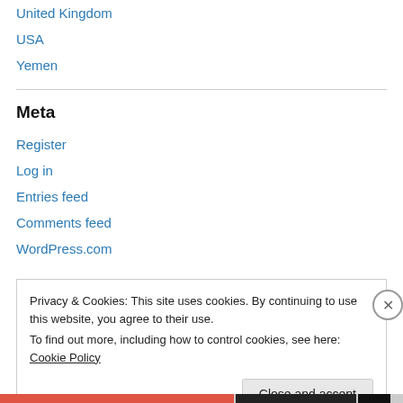United Kingdom
USA
Yemen
Meta
Register
Log in
Entries feed
Comments feed
WordPress.com
Privacy & Cookies: This site uses cookies. By continuing to use this website, you agree to their use. To find out more, including how to control cookies, see here: Cookie Policy